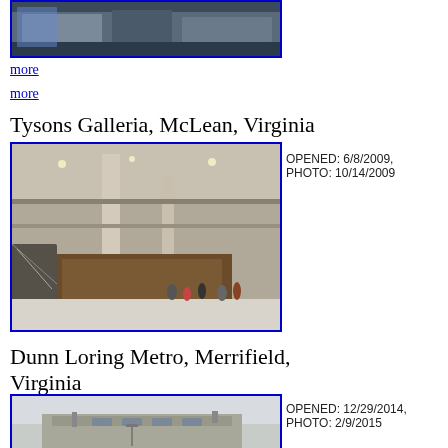[Figure (photo): Partial view of an indoor transit or commercial space, cropped at the top of the page]
more
more
Tysons Galleria, McLean, Virginia
[Figure (photo): Interior of Tysons Galleria mall showing multiple levels, escalators, and a food court or central area with people]
OPENED: 6/8/2009, PHOTO: 10/14/2009
Dunn Loring Metro, Merrifield, Virginia
[Figure (photo): Exterior of Dunn Loring Metro station, a concrete brutalist building under overcast sky]
OPENED: 12/29/2014, PHOTO: 2/9/2015